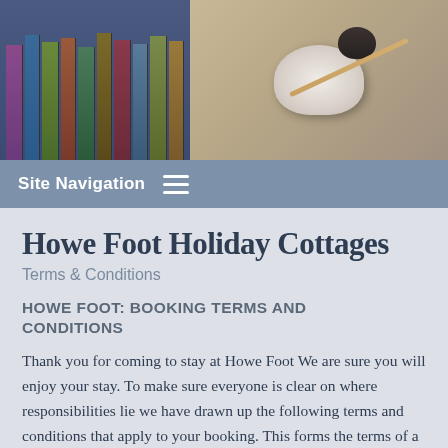[Figure (photo): Hero image showing two sections: left side with colorful book spines on a shelf, right side with a fluffy sheep or wool animal with knitting needles]
Site Navigation ≡
Howe Foot Holiday Cottages
Terms & Conditions
HOWE FOOT: BOOKING TERMS AND CONDITIONS
Thank you for coming to stay at Howe Foot We are sure you will enjoy your stay. To make sure everyone is clear on where responsibilities lie we have drawn up the following terms and conditions that apply to your booking. This forms the terms of a legally binding contract between us and you.